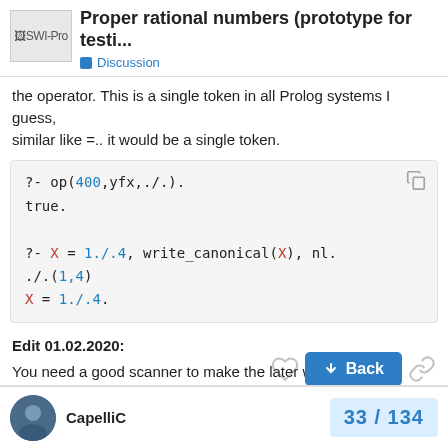Proper rational numbers (prototype for testi... Discussion
the operator. This is a single token in all Prolog systems I guess, similar like =.. it would be a single token.
[Figure (screenshot): Code block showing Prolog session: ?- op(400,yfx,./.). true. ?- X = 1./.4, write_canonical(X), nl. ./.(1,4) X = 1./.4.]
Edit 01.02.2020:
You need a good scanner to make the later work.
The scanner must not tollerate 1. as a float number.
CapelliC  33 / 134